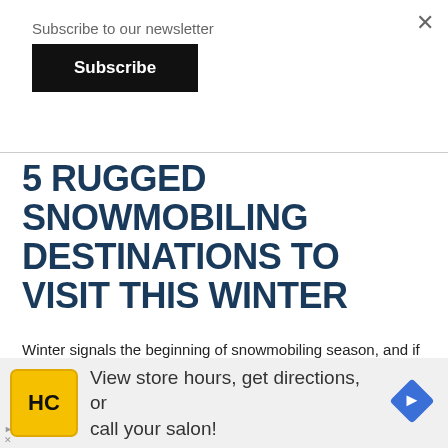Subscribe to our newsletter
Subscribe
5 RUGGED SNOWMOBILING DESTINATIONS TO VISIT THIS WINTER
Winter signals the beginning of snowmobiling season, and if you're looking for some challenging destinations that guarantee adventure, look no…
Read More >>>
[Figure (photo): Partial snowmobile or winter landscape image strip at bottom of article section]
[Figure (infographic): Advertisement bar: HC logo (yellow circle with HC text), text 'View store hours, get directions, or call your salon!', blue diamond navigation icon]